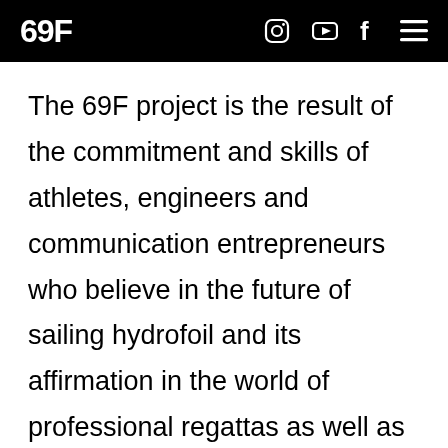69F
The 69F project is the result of the commitment and skills of athletes, engineers and communication entrepreneurs who believe in the future of sailing hydrofoil and its affirmation in the world of professional regattas as well as in the world of lifestyle and amateur sport. The 69F team developed and built an innovative high-performance boat, they designed two captivating and sustainable